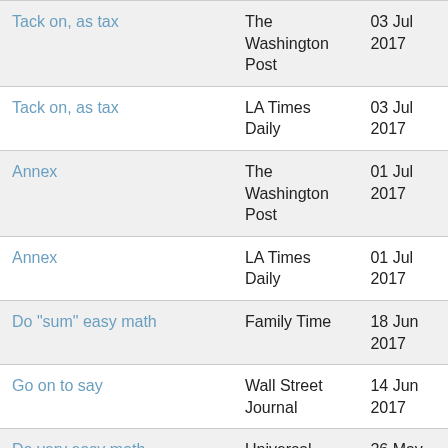| Tack on, as tax | The Washington Post | 03 Jul 2017 |
| Tack on, as tax | LA Times Daily | 03 Jul 2017 |
| Annex | The Washington Post | 01 Jul 2017 |
| Annex | LA Times Daily | 01 Jul 2017 |
| Do "sum" easy math | Family Time | 18 Jun 2017 |
| Go on to say | Wall Street Journal | 14 Jun 2017 |
| Do very easy math | Universal | 26 May |